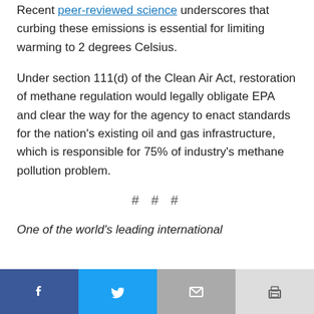Recent peer-reviewed science underscores that curbing these emissions is essential for limiting warming to 2 degrees Celsius.
Under section 111(d) of the Clean Air Act, restoration of methane regulation would legally obligate EPA and clear the way for the agency to enact standards for the nation's existing oil and gas infrastructure, which is responsible for 75% of industry's methane pollution problem.
# # #
One of the world's leading international